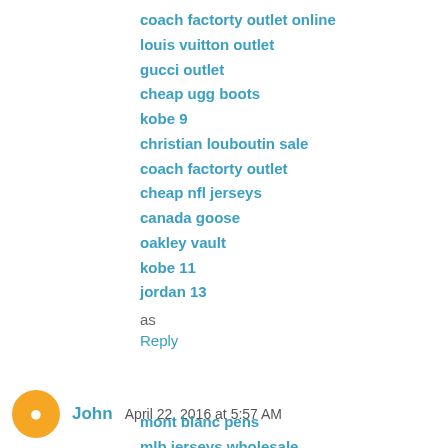coach factorty outlet online
louis vuitton outlet
gucci outlet
cheap ugg boots
kobe 9
christian louboutin sale
coach factorty outlet
cheap nfl jerseys
canada goose
oakley vault
kobe 11
jordan 13
as
Reply
John  April 22, 2016 at 5:57 AM
mont blanc pens
mlb jerseys wholesale
cheap jordans
chi flat iron